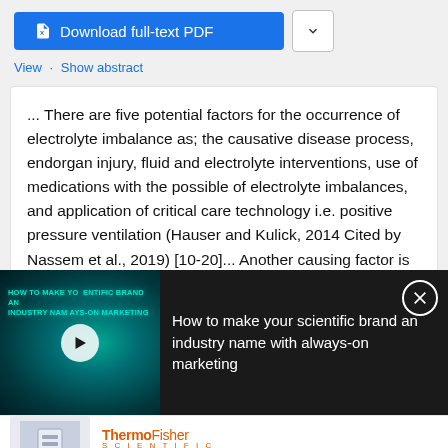[Figure (screenshot): Download full-text PDF button (blue) with dropdown arrow button]
View · Show abstract
... There are five potential factors for the occurrence of electrolyte imbalance as; the causative disease process, endorgan injury, fluid and electrolyte interventions, use of medications with the possible of electrolyte imbalances, and application of critical care technology i.e. positive pressure ventilation (Hauser and Kulick, 2014 Cited by Nassem et al., 2019) [10-20]... Another causing factor is
[Figure (screenshot): Video overlay with dark background showing 'How to make your scientific brand an industry name with always-on marketing' promo video thumbnail on left and text on right, with close button]
[Figure (logo): ThermoFisher Scientific advertisement with logo and tagline 'Empowering life science researchers']